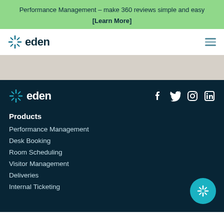Performance Management – make 360 reviews simple and easy [Learn More]
[Figure (logo): Eden logo with sparkle icon in dark teal color in navigation bar]
[Figure (logo): Eden logo with sparkle icon in white color in footer]
[Figure (illustration): Social media icons: Facebook, Twitter, Instagram, LinkedIn in white]
Products
Performance Management
Desk Booking
Room Scheduling
Visitor Management
Deliveries
Internal Ticketing